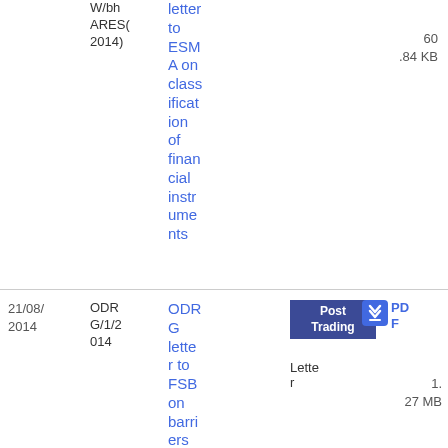| Date | Reference | Title | Topic | Type | Size |
| --- | --- | --- | --- | --- | --- |
| 7/11/2014 | W/bh ARES(2014) | letter to ESMA on classification of financial instruments |  |  | 60.84 KB |
| 21/08/2014 | ODRG/1/2014 | ODRG letter to FSB on barriers | Post Trading | Letter | 1.27 MB |